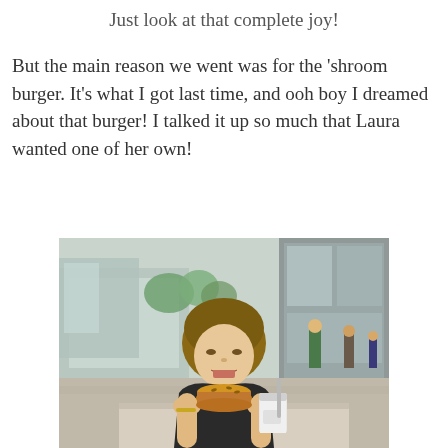Just look at that complete joy!
But the main reason we went was for the 'shroom burger. It's what I got last time, and ooh boy I dreamed about that burger! I talked it up so much that Laura wanted one of her own!
[Figure (photo): A young woman sitting outdoors at a table about to eat a burger, with a drink with a straw beside her. Urban outdoor seating area visible in background with people and buildings.]